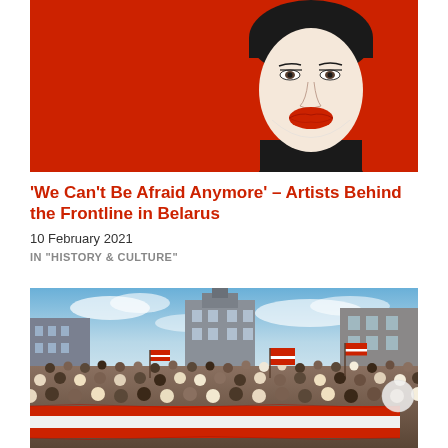[Figure (illustration): Illustrated artwork showing a woman's face with bold red lips on a red background, split into two panels — left panel is a solid red rectangle, right panel shows a stylized line-art face with black hair/collar against red.]
'We Can't Be Afraid Anymore' – Artists Behind the Frontline in Belarus
10 February 2021
IN "HISTORY & CULTURE"
[Figure (photo): Outdoor protest photograph showing a large crowd of people waving red and white Belarusian opposition flags in a city square, with buildings and a cloudy sky in the background. A large red-and-white striped flag is being carried across the foreground.]